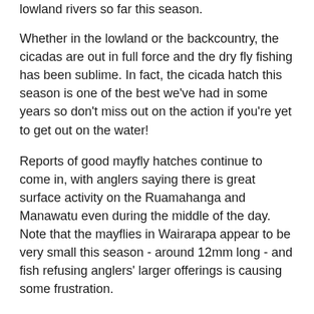lowland rivers so far this season.
Whether in the lowland or the backcountry, the cicadas are out in full force and the dry fly fishing has been sublime. In fact, the cicada hatch this season is one of the best we've had in some years so don't miss out on the action if you're yet to get out on the water!
Reports of good mayfly hatches continue to come in, with anglers saying there is great surface activity on the Ruamahanga and Manawatu even during the middle of the day. Note that the mayflies in Wairarapa appear to be very small this season - around 12mm long - and fish refusing anglers' larger offerings is causing some frustration.
The rain yesterday has some of the main rivers in the region running with a touch of colour and/or extra flow so if you're a dedicated spin angler the fishing today and into tomorrow should suit you perfectly.
Grab your licence and make the most of this stunning fishing season we're in the midst of.